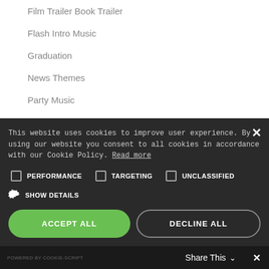Film Trailer Book Trailer
Flash Intro Music
Graduation
News Themes
Party Music
SciFi
Sports Theme
This website uses cookies to improve user experience. By using our website you consent to all cookies in accordance with our Cookie Policy. Read more
PERFORMANCE   TARGETING   UNCLASSIFIED
SHOW DETAILS
ACCEPT ALL
DECLINE ALL
POWERED BY COOKIE-SCRIPT   Share This   ✕